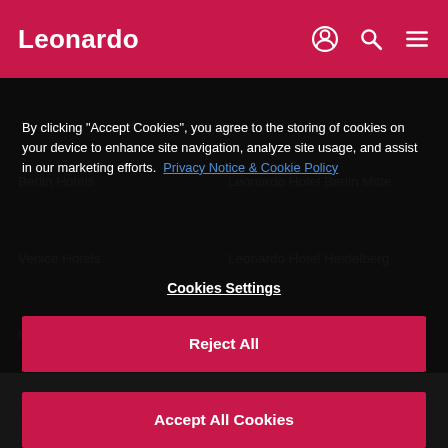Leonardo
Berlin Hotels
Leonardo Hotel Berlin Mitte
Venice Hotels
Leonardo Hotel Heidelberg
Munich Hotels
Leonardo Hotel Hannover
Vienna Hotels
Leonardo Hotel Budapest
By clicking "Accept Cookies", you agree to the storing of cookies on your device to enhance site navigation, analyze site usage, and assist in our marketing efforts.  Privacy Notice & Cookie Policy
Cookies Settings
Reject All
Accept All Cookies